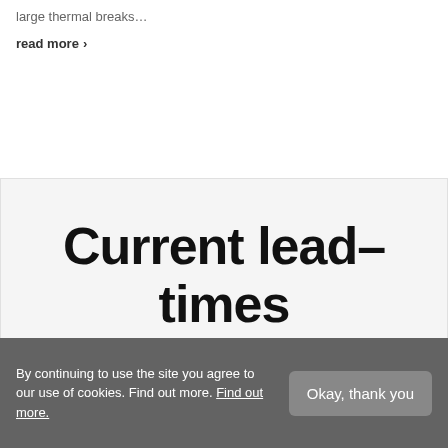large thermal breaks…
read more >
Current lead-times
Correct as of 1700, Weds 20th July 2022
By continuing to use the site you agree to our use of cookies. Find out more. Find out more.